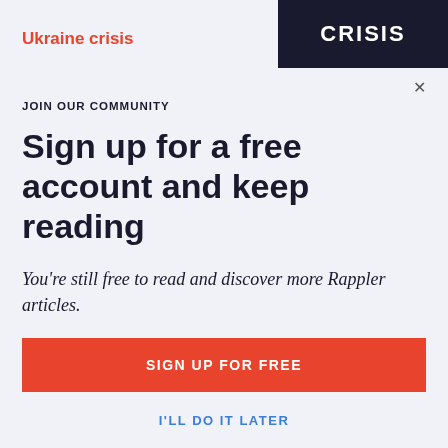Ukraine crisis
[Figure (screenshot): Dark background image with the word CRISIS in bold white capital letters]
X
JOIN OUR COMMUNITY
Sign up for a free account and keep reading
You're still free to read and discover more Rappler articles.
Why is it important for you to register?
Know here.
SIGN UP FOR FREE
I'LL DO IT LATER